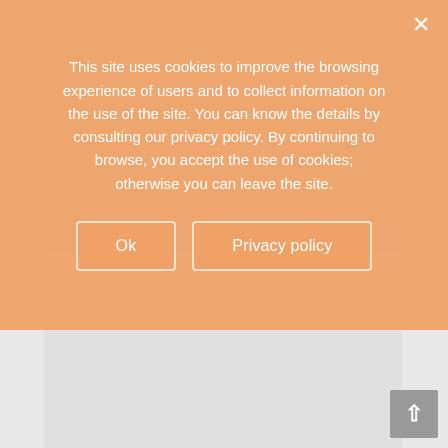[Figure (screenshot): Gray placeholder content block (top) representing page content behind cookie overlay]
[Figure (screenshot): Gray placeholder content block (bottom) representing page content behind cookie overlay]
This site uses cookies to improve the browsing experience of users and to collect information on the use of the site. You can know the details by consulting our privacy policy. By continuing to browse, you accept the use of cookies; otherwise you can leave the site.
[Figure (screenshot): Cookie consent overlay with orange/salmon background containing cookie notice text and two buttons: 'Ok' and 'Privacy policy', with a close (×) button in the top right corner]